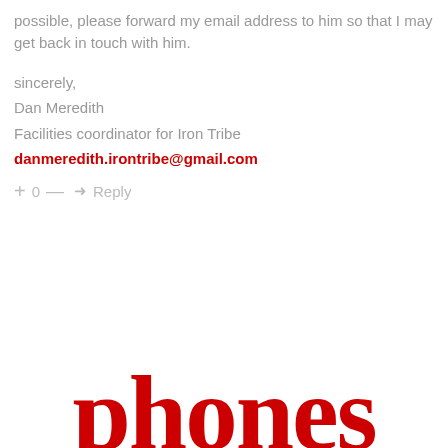possible, please forward my email address to him so that I may get back in touch with him.
sincerely,
Dan Meredith
Facilities coordinator for Iron Tribe
danmeredith.irontribe@gmail.com
+ 0 — → Reply
phones